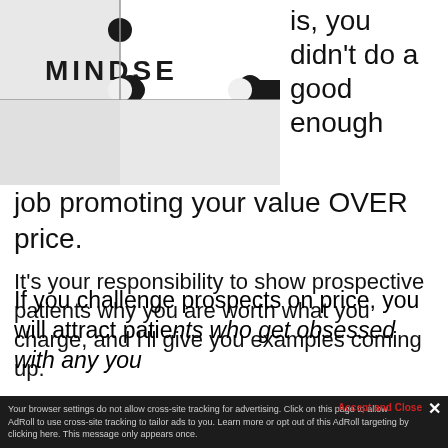[Figure (photo): Close-up photo of puzzle pieces spelling MINDSET, with white puzzle pieces on black background]
is, you didn't do a good enough job promoting your value OVER price.
It's your responsibility to show prospective patients why you are worth what you charge, and I'll give you examples coming up.
And here's something else to consider…
Like attracts like. That means you attract who you are.
If you challenge prospects on price, you will attract patients who get obsessed with any you
Accept and Close ✕ Your browser settings do not allow cross-site tracking for advertising. Click on this p ow AdRoll to use cross-site tracking to tailor ads to you. Learn more or opt out of this Ad ng by clicking here. This message only appears once.